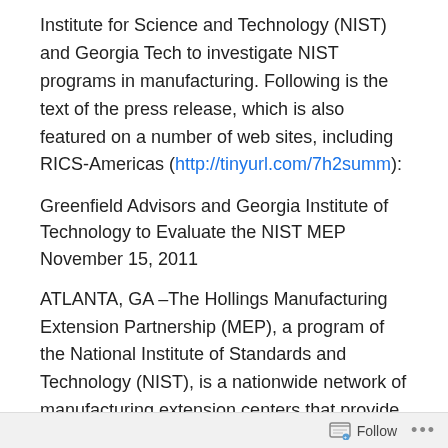Institute for Science and Technology (NIST) and Georgia Tech to investigate NIST programs in manufacturing. Following is the text of the press release, which is also featured on a number of web sites, including RICS-Americas (http://tinyurl.com/7h2summ):
Greenfield Advisors and Georgia Institute of Technology to Evaluate the NIST MEP
November 15, 2011
ATLANTA, GA –The Hollings Manufacturing Extension Partnership (MEP), a program of the National Institute of Standards and Technology (NIST), is a nationwide network of manufacturing extension centers that provide services to small and mid-sized manufacturers to increase their competitiveness and productivity. Since 1989, the MEP
Follow ···